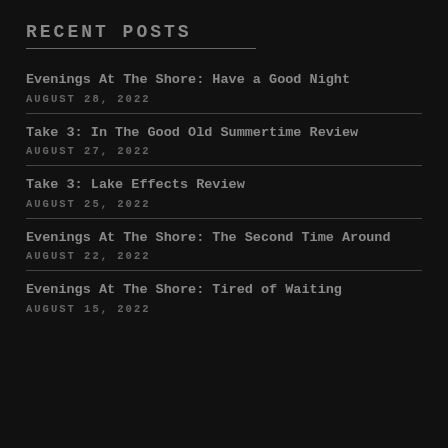RECENT POSTS
Evenings At The Shore: Have a Good Night
AUGUST 28, 2022
Take 3: In The Good Old Summertime Review
AUGUST 27, 2022
Take 3: Lake Effects Review
AUGUST 25, 2022
Evenings At The Shore: The Second Time Around
AUGUST 22, 2022
Evenings At The Shore: Tired of Waiting
AUGUST 15, 2022